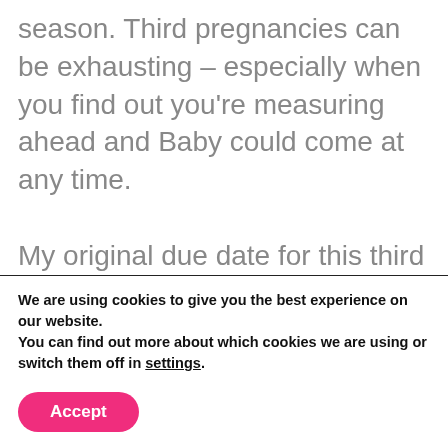season. Third pregnancies can be exhausting – especially when you find out you're measuring ahead and Baby could come at any time.

My original due date for this third little boy was mid-January but now it's looking like it could be early January, which means December is
We are using cookies to give you the best experience on our website.
You can find out more about which cookies we are using or switch them off in settings.
Accept